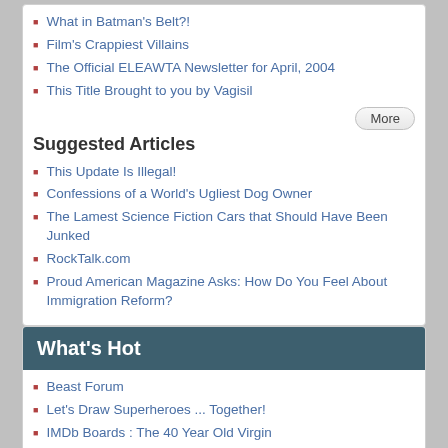What in Batman's Belt?!
Film's Crappiest Villains
The Official ELEAWTA Newsletter for April, 2004
This Title Brought to you by Vagisil
Suggested Articles
This Update Is Illegal!
Confessions of a World's Ugliest Dog Owner
The Lamest Science Fiction Cars that Should Have Been Junked
RockTalk.com
Proud American Magazine Asks: How Do You Feel About Immigration Reform?
What's Hot
Beast Forum
Let's Draw Superheroes ... Together!
IMDb Boards : The 40 Year Old Virgin
The Curse of Lizzie Borden
Transformers; The Tree of Life